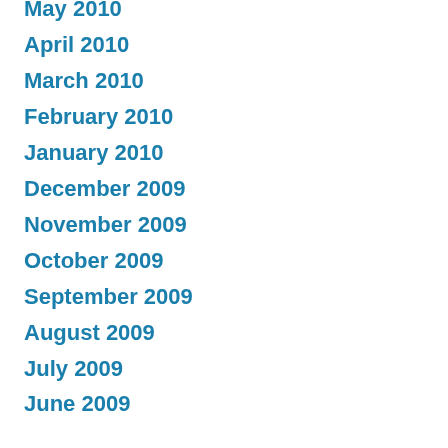May 2010
April 2010
March 2010
February 2010
January 2010
December 2009
November 2009
October 2009
September 2009
August 2009
July 2009
June 2009